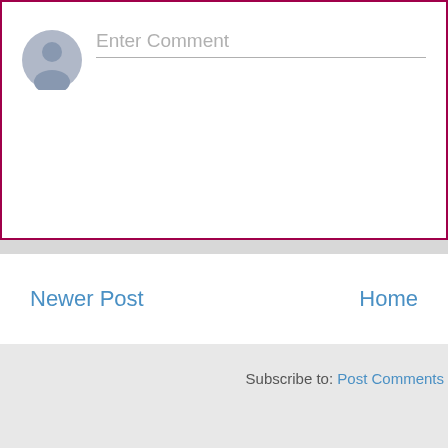[Figure (screenshot): Comment input area with user avatar icon on the left and 'Enter Comment' placeholder text with underline on the right, inside a box with a dark pink/maroon border]
Newer Post
Home
Subscribe to: Post Comments